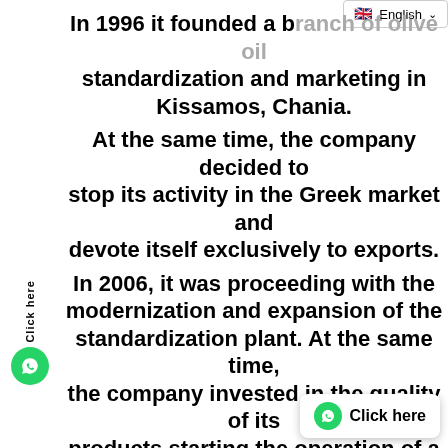In 1996 it founded a branch of olive oil standardization and marketing in Kissamos, Chania.
At the same time, the company decided to stop its activity in the Greek market and devote itself exclusively to exports.
In 2006, it was proceeding with the modernization and expansion of the standardization plant. At the same time, the company invested in the quality of its products starting the operation of a fully-equipped chemistry laboratory.
In 2015, El. Renieris & Co expanded its storage capacity and tank farm with a new bottling line for extra virgin olive oil